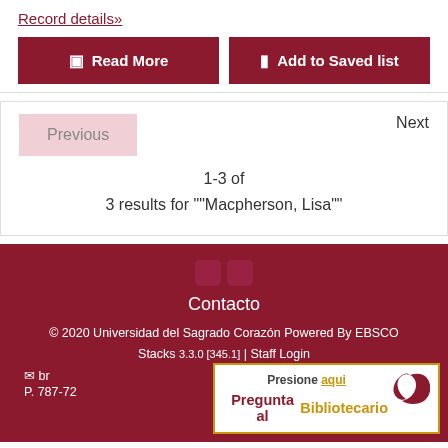Record details»
📄 Read More
🔖 Add to Saved list
Previous
Next
1-3 of
3 results for ""Macpherson, Lisa""
Contacto
© 2020 Universidad del Sagrado Corazón Powered By EBSCO Stacks 3.3.0 [345.1] | Staff Login
br... | P. 787-72...
Presione aqui | Pregunta al Bibliotecario